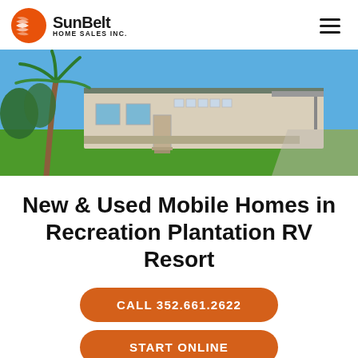[Figure (logo): SunBelt Home Sales Inc. logo with orange circular sun icon and bold company name]
[Figure (photo): Exterior photo of a single-story mobile home with white/beige siding, awning windows, lush green lawn, and a palm tree on a sunny day]
New & Used Mobile Homes in Recreation Plantation RV Resort
CALL 352.661.2622
START ONLINE